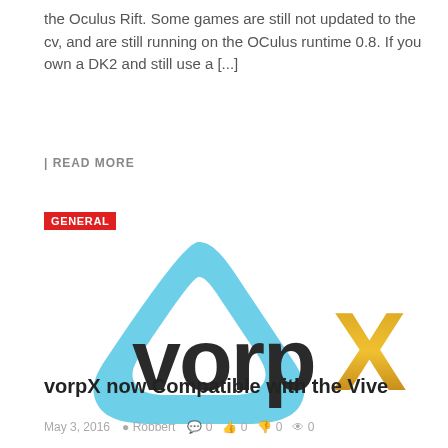the Oculus Rift. Some games are still not updated to the cv, and are still running on the OCulus runtime 0.8. If you own a DK2 and still use a [...]
| READ MORE
GENERAL
[Figure (logo): vorpX logo: a rounded blue triangle outline shape on the left, with 'vorp' in dark/black lowercase bold letters and 'X' in gold/amber bold letter on the right]
vorpX now Compatible with the Vive
May 3, 2016  Robbert  0  0  0  0